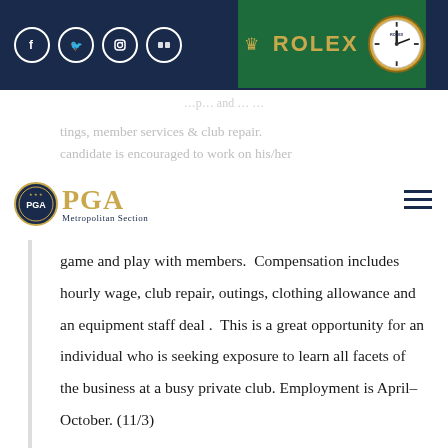[Figure (screenshot): Top navigation bar with dark navy background containing social media icons (Facebook, Twitter, Instagram, Flickr) in circular white borders on the left, and a Rolex advertisement banner (green background with Rolex logo, text, and clock image) in the center-right]
[Figure (logo): PGA Metropolitan Section logo with circular badge and gold PGA lettering]
tings, member services & club repair.
candidate is encouraged to work on his/her
game and play with members.  Compensation includes hourly wage, club repair, outings, clothing allowance and an equipment staff deal .  This is a great opportunity for an individual who is seeking exposure to learn all facets of the business at a busy private club. Employment is April–October. (11/3)